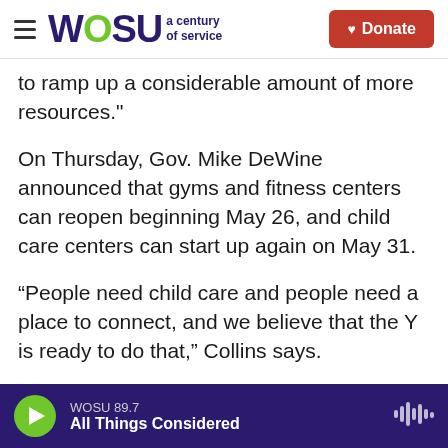WOSU a century of service | Donate
to ramp up a considerable amount of more resources."
On Thursday, Gov. Mike DeWine announced that gyms and fitness centers can reopen beginning May 26, and child care centers can start up again on May 31.
“People need child care and people need a place to connect, and we believe that the Y is ready to do that,” Collins says.
When the YMCA does reopen, Collins expects that safety procedures will be enhanced.
WOSU 89.7 | All Things Considered